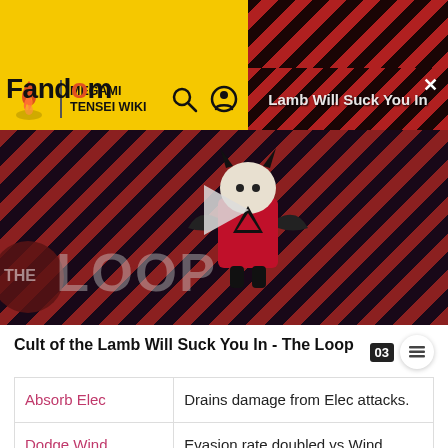[Figure (screenshot): Yellow Fandom ad banner at top of page]
Fandom | MEGAMI TENSEI WIKI
[Figure (screenshot): Video thumbnail: Cult of the Lamb Will Suck You In - The Loop, with striped background, character, play button, and THE LOOP text overlay]
Cult of the Lamb Will Suck You In - The Loop
| Skill | Description |
| --- | --- |
| Absorb Elec | Drains damage from Elec attacks. |
| Dodge Wind | Evasion rate doubled vs Wind attacks. |